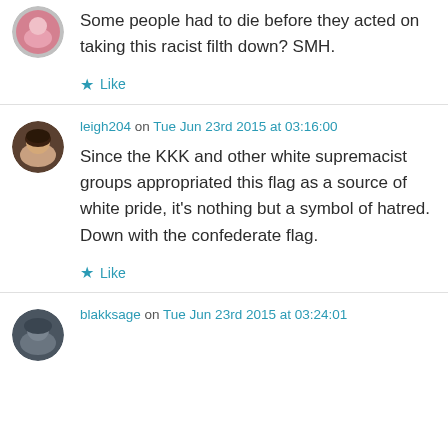Some people had to die before they acted on taking this racist filth down? SMH.
Like
leigh204 on Tue Jun 23rd 2015 at 03:16:00
Since the KKK and other white supremacist groups appropriated this flag as a source of white pride, it's nothing but a symbol of hatred. Down with the confederate flag.
Like
blakksage on Tue Jun 23rd 2015 at 03:24:01